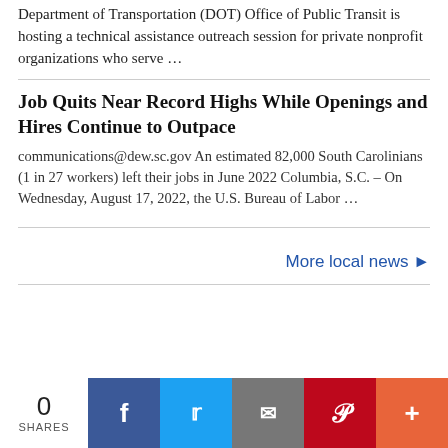Department of Transportation (DOT) Office of Public Transit is hosting a technical assistance outreach session for private nonprofit organizations who serve …
Job Quits Near Record Highs While Openings and Hires Continue to Outpace
communications@dew.sc.gov An estimated 82,000 South Carolinians (1 in 27 workers) left their jobs in June 2022 Columbia, S.C. – On Wednesday, August 17, 2022, the U.S. Bureau of Labor …
More local news ▶
0 SHARES | Facebook | Twitter | Email | Pinterest | More